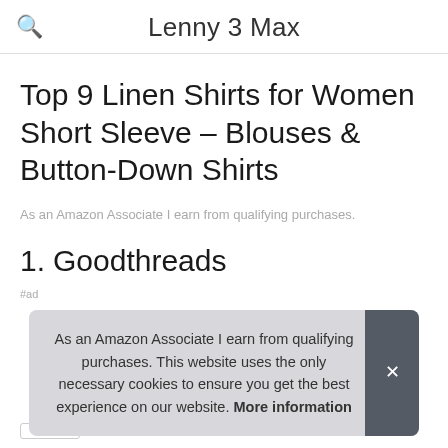Lenny 3 Max
Top 9 Linen Shirts for Women Short Sleeve – Blouses & Button-Down Shirts
As an Amazon Associate I earn from qualifying purchases.
1. Goodthreads
#ad
As an Amazon Associate I earn from qualifying purchases. This website uses the only necessary cookies to ensure you get the best experience on our website. More information